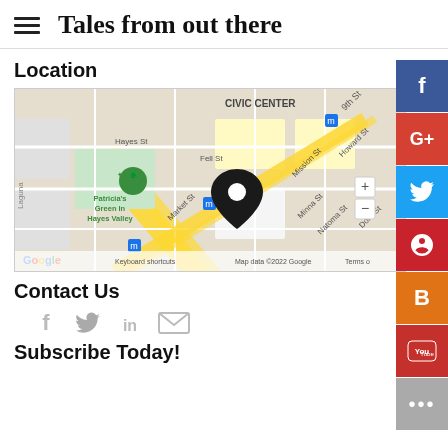Tales from out there
Location
[Figure (map): Google Map showing Civic Center area in San Francisco with a location pin on Market St, showing streets including Hayes St, Fell St, Mission St, 9th St, 10th St, Minna St, Natoma St, Dore St, Howard St. Labels: Patricia's Green In Hayes Valley, CIVIC CENTER. Map data ©2022 Google.]
Contact Us
[Figure (infographic): Row of social media icons: Facebook (f), Twitter (bird), LinkedIn (in), Email (envelope)]
Subscribe Today!